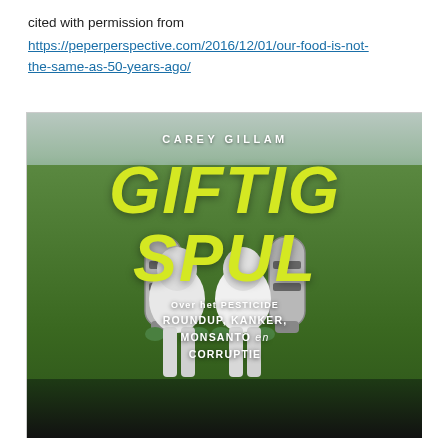cited with permission from
https://peperperspective.com/2016/12/01/our-food-is-not-the-same-as-50-years-ago/
[Figure (illustration): Book cover of 'Giftig Spul' by Carey Gillam. Shows two workers in white protective suits with silver spray tanks on their backs, standing in a green agricultural field. Title 'GIFTIG SPUL' in large yellow italic text, subtitle 'Over het PESTICIDE ROUNDUP, KANKER, MONSANTO en CORRUPTIE' in white text below.]